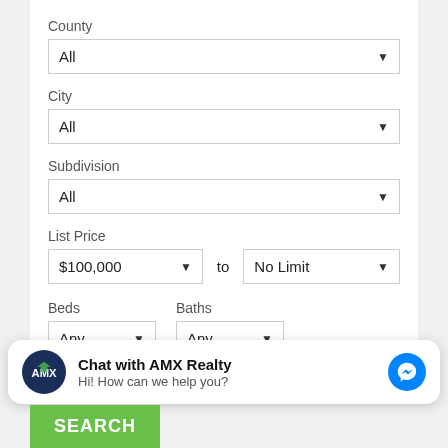County
All ▼
City
All ▼
Subdivision
All ▼
List Price
$100,000 ▼  to  No Limit ▼
Beds
Baths
Any ▼
Any ▼
Chat with AMX Realty
Hi! How can we help you?
SEARCH